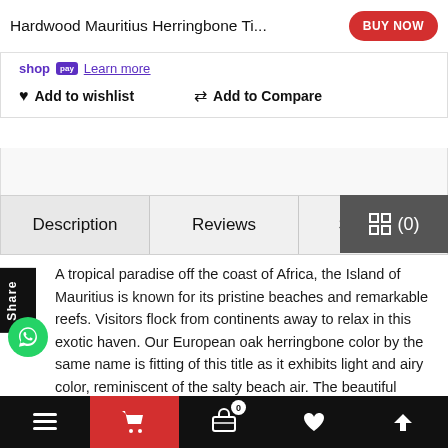Hardwood Mauritius Herringbone Ti...
shop Learn more
♥ Add to wishlist   ⇄ Add to Compare
Description | Reviews | Specifica
A tropical paradise off the coast of Africa, the Island of Mauritius is known for its pristine beaches and remarkable reefs. Visitors flock from continents away to relax in this exotic haven. Our European oak herringbone color by the same name is fitting of this title as it exhibits light and airy color, reminiscent of the salty beach air. The beautiful blonde reactive stain accentuates the natural beauty of the wood and its character, making this a fine choice for any
≡  🛒  🛍 0  ♥  ∧